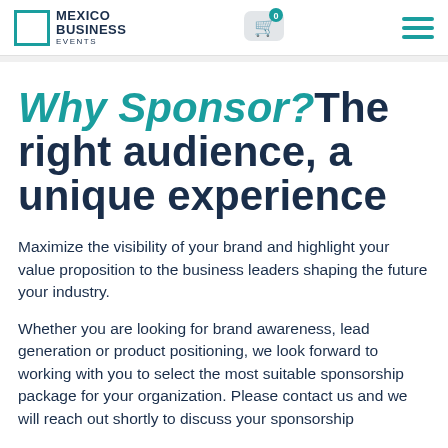Mexico Business Events
Why Sponsor? The right audience, a unique experience
Maximize the visibility of your brand and highlight your value proposition to the business leaders shaping the future your industry.
Whether you are looking for brand awareness, lead generation or product positioning, we look forward to working with you to select the most suitable sponsorship package for your organization. Please contact us and we will reach out shortly to discuss your sponsorship